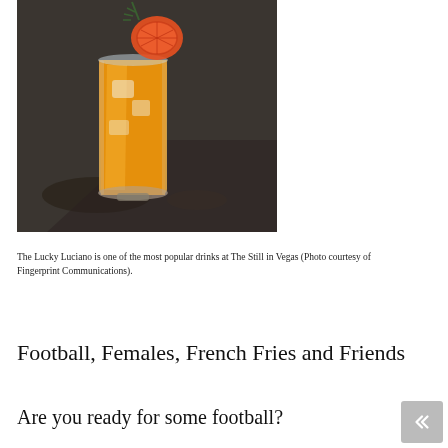[Figure (photo): A tall glass filled with an orange/yellow cocktail drink garnished with a grapefruit slice and herbs, set on a dark reflective surface in a bar setting.]
The Lucky Luciano is one of the most popular drinks at The Still in Vegas (Photo courtesy of Fingerprint Communications).
Football, Females, French Fries and Friends
Are you ready for some football?